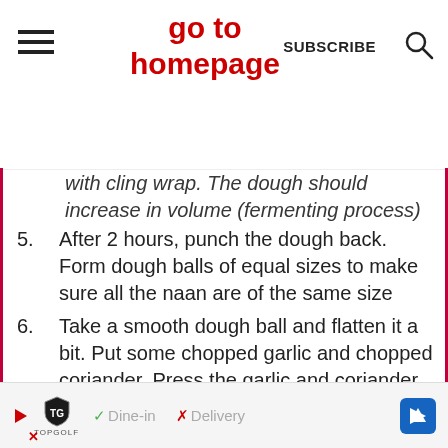go to homepage | SUBSCRIBE
with cling wrap. The dough should increase in volume (fermenting process)
5. After 2 hours, punch the dough back. Form dough balls of equal sizes to make sure all the naan are of the same size
6. Take a smooth dough ball and flatten it a bit. Put some chopped garlic and chopped coriander. Press the garlic and coriander into the dough so it will not...
Dine-in ✓  X Delivery — Topgolf advertisement